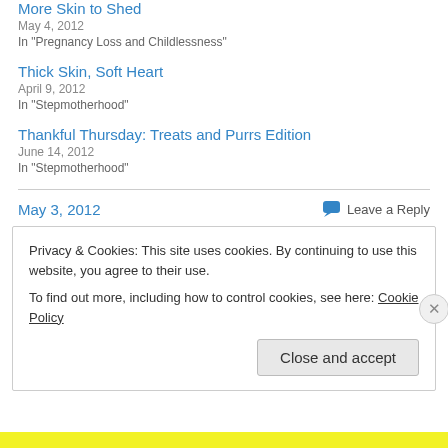More Skin to Shed
May 4, 2012
In "Pregnancy Loss and Childlessness"
Thick Skin, Soft Heart
April 9, 2012
In "Stepmotherhood"
Thankful Thursday: Treats and Purrs Edition
June 14, 2012
In "Stepmotherhood"
May 3, 2012
Leave a Reply
Privacy & Cookies: This site uses cookies. By continuing to use this website, you agree to their use.
To find out more, including how to control cookies, see here: Cookie Policy